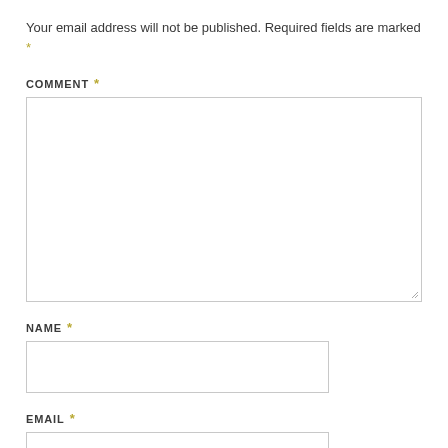Your email address will not be published. Required fields are marked *
COMMENT *
[Figure (other): Large empty comment text area input box with resize handle]
NAME *
[Figure (other): Single-line name text input box]
EMAIL *
[Figure (other): Single-line email text input box (partially visible)]